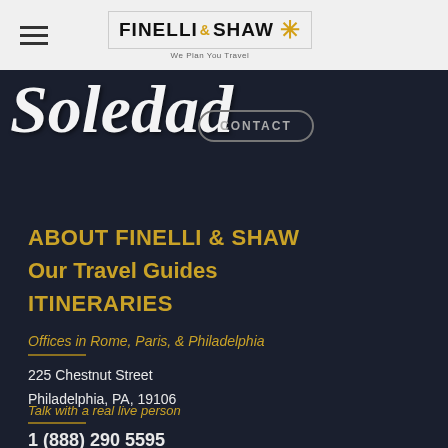FINELLI & SHAW — We Plan You Travel
[Figure (logo): Finelli & Shaw logo with sun icon and tagline 'We Plan You Travel']
Soledad
CONTACT
ABOUT FINELLI & SHAW
Our Travel Guides
ITINERARIES
Offices in Rome, Paris, & Philadelphia
225 Chestnut Street
Philadelphia, PA, 19106
Talk with a real live person
1 (888) 290 5595